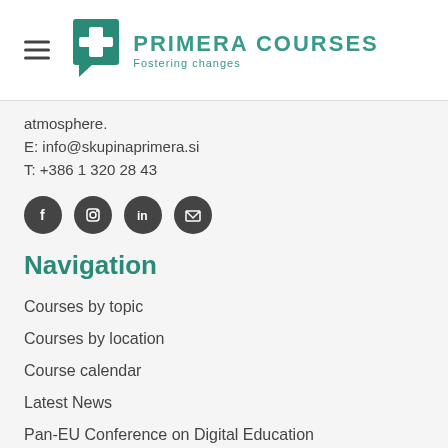PRIMERA COURSES Fostering changes
atmosphere.
E: info@skupinaprimera.si
T: +386 1 320 28 43
[Figure (infographic): Four dark circular social media icons: Facebook (f), Instagram (camera), LinkedIn (in), Email (envelope)]
Navigation
Courses by topic
Courses by location
Course calendar
Latest News
Pan-EU Conference on Digital Education